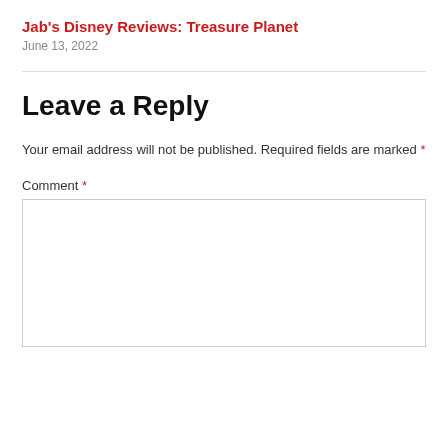Jab's Disney Reviews: Treasure Planet
June 13, 2022
Leave a Reply
Your email address will not be published. Required fields are marked *
Comment *